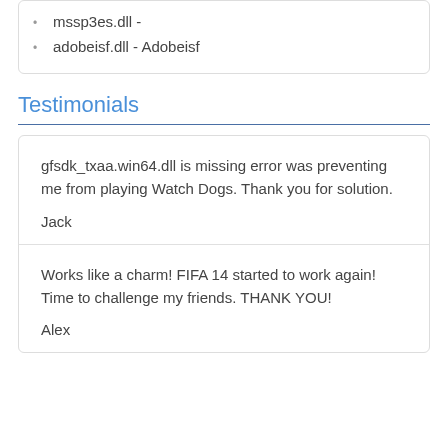mssp3es.dll -
adobeisf.dll - Adobeisf
Testimonials
gfsdk_txaa.win64.dll is missing error was preventing me from playing Watch Dogs. Thank you for solution.
Jack
Works like a charm! FIFA 14 started to work again! Time to challenge my friends. THANK YOU!
Alex